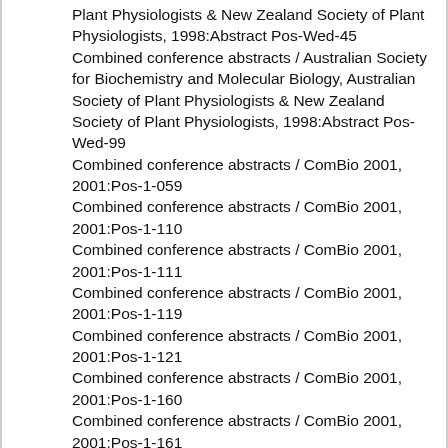Plant Physiologists & New Zealand Society of Plant Physiologists, 1998:Abstract Pos-Wed-45
Combined conference abstracts / Australian Society for Biochemistry and Molecular Biology, Australian Society of Plant Physiologists & New Zealand Society of Plant Physiologists, 1998:Abstract Pos-Wed-99
Combined conference abstracts / ComBio 2001, 2001:Pos-1-059
Combined conference abstracts / ComBio 2001, 2001:Pos-1-110
Combined conference abstracts / ComBio 2001, 2001:Pos-1-111
Combined conference abstracts / ComBio 2001, 2001:Pos-1-119
Combined conference abstracts / ComBio 2001, 2001:Pos-1-121
Combined conference abstracts / ComBio 2001, 2001:Pos-1-160
Combined conference abstracts / ComBio 2001, 2001:Pos-1-161
Combined conference abstracts / ComBio 2001, 2001:Pos-2-078